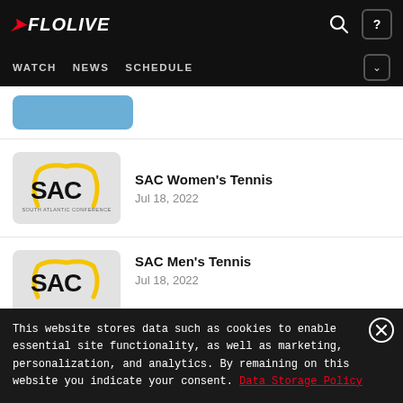FLOLIVE — WATCH NEWS SCHEDULE
[Figure (screenshot): Blue thumbnail placeholder image partially visible]
[Figure (logo): SAC (South Atlantic Conference) logo on grey rounded-rectangle thumbnail]
SAC Women's Tennis
Jul 18, 2022
[Figure (logo): SAC (South Atlantic Conference) logo on grey rounded-rectangle thumbnail, partially cropped]
SAC Men's Tennis
Jul 18, 2022
This website stores data such as cookies to enable essential site functionality, as well as marketing, personalization, and analytics. By remaining on this website you indicate your consent. Data Storage Policy